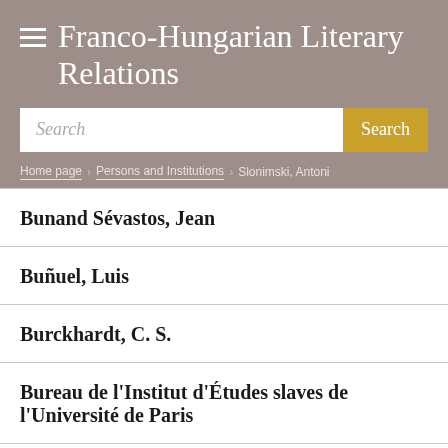≡ Franco-Hungarian Literary Relations
Search
Home page > Persons and Institutions > Slonimski, Antoni
Bunand Sévastos, Jean
Buñuel, Luis
Burckhardt, C. S.
Bureau de l'Institut d'Études slaves de l'Université de Paris